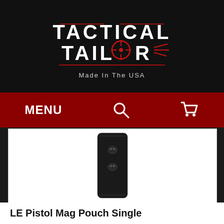[Figure (logo): Tactical Tailor logo with crosshair symbol, red horizontal lines, white distressed text on black background. Text reads TACTICAL TAILOR Made In The USA.]
[Figure (screenshot): Dark red navigation bar with MENU text on left, search icon in center, shopping cart icon on right.]
[Figure (photo): Black nylon LE pistol magazine pouch with two snap buttons, vertical rectangular shape, on white background.]
LE Pistol Mag Pouch Single